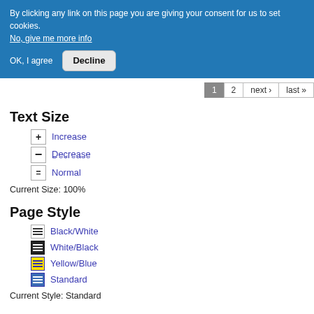By clicking any link on this page you are giving your consent for us to set cookies. No, give me more info
OK, I agree   Decline
1  2  next ›  last »
Text Size
+ Increase
— Decrease
= Normal
Current Size: 100%
Page Style
Black/White
White/Black
Yellow/Blue
Standard
Current Style: Standard